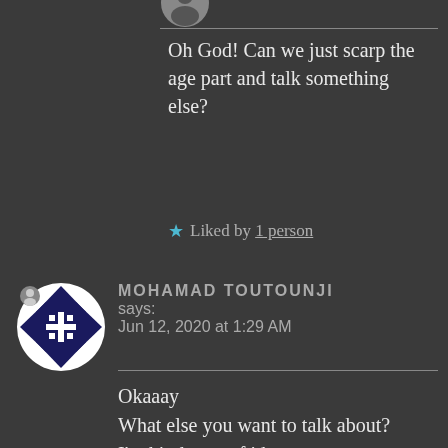Oh God! Can we just scarp the age part and talk something else?
★ Liked by 1 person
MOHAMAD TOUTOUNJI says: Jun 12, 2020 at 1:29 AM
Okaaay
What else you want to talk about?
I'm kinda out of ideas
★ Like